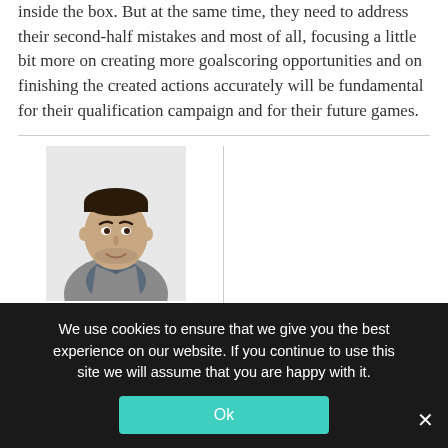inside the box. But at the same time, they need to address their second-half mistakes and most of all, focusing a little bit more on creating more goalscoring opportunities and on finishing the created actions accurately will be fundamental for their qualification campaign and for their future games.
[Figure (photo): Author headshot photo of a young man in a grey suit jacket, shown from shoulders up, smiling slightly]
We use cookies to ensure that we give you the best experience on our website. If you continue to use this site we will assume that you are happy with it.